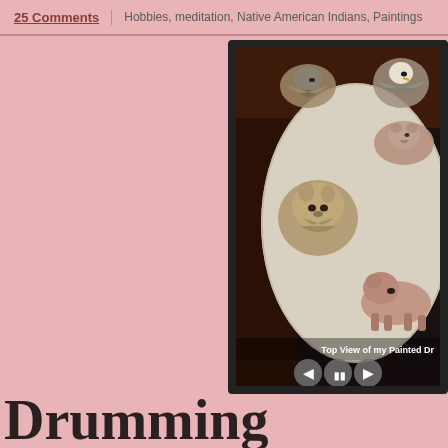25 Comments   Hobbies, meditation, Native American Indians, Paintings
[Figure (photo): Slideshow player showing a top view of a painted drum with Native American animal paintings (hawk, eagle, bear, wolf/coyote) on a round white drum surface. Playback controls visible at bottom. Caption reads: Top View of my Painted Dr[um]]
Top View of my Painted Dr[um]
Drumming